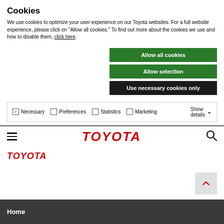Cookies
We use cookies to optimize your user experience on our Toyota websites. For a full website experience, please click on "Allow all cookies." To find out more about the cookies we use and how to disable them, click here.
Allow all cookies
Allow selection
Use necessary cookies only
Necessary  Preferences  Statistics  Marketing  Show details
[Figure (logo): Toyota navigation bar with hamburger menu, TOYOTA logo in red, and search icon]
[Figure (logo): Small TOYOTA logo in red italic text]
[Figure (other): Back to top arrow button (chevron up) in light gray square]
Home